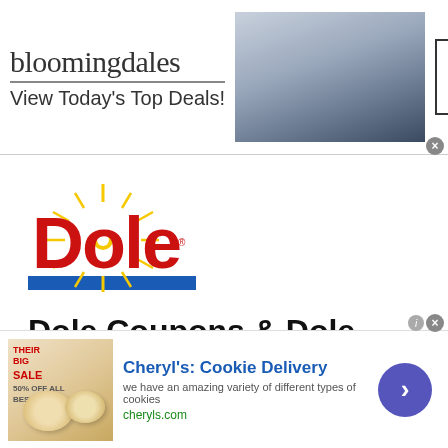[Figure (screenshot): Bloomingdale's advertisement banner with logo, tagline 'View Today's Top Deals!', model photo, and 'SHOP NOW >' button]
[Figure (logo): Dole brand logo — red letters spelling DOLE with a yellow sun burst in the O, blue horizontal bar underneath]
Dole Coupons & Dole Deals
If you are looking for Dole Coupons you have come to the right place! Below you will find a list of all the current Dole Printable Coupons as well as other
[Figure (screenshot): Cheryl's Cookie Delivery advertisement with cookie image, 'SALE' badge, ad text 'we have an amazing variety of different types of cookies', cheryls.com URL, and blue circular arrow CTA button]